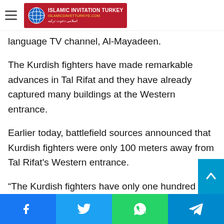Islamic Invitation Turkey - logo and navigation header
positions on the territory of the Menagh airbase, a YPG-language TV channel, Al-Mayadeen.
The Kurdish fighters have made remarkable advances in Tal Rifat and they have already captured many buildings at the Western entrance.
Earlier today, battlefield sources announced that Kurdish fighters were only 100 meters away from Tal Rifat's Western entrance.
“The Kurdish fighters have only one hundred of meters to access the Western gate of Tal Rifat,” the sources said.
“A heavy battle is now underway near Tal Rifat and its
Facebook Twitter WhatsApp Telegram social share bar